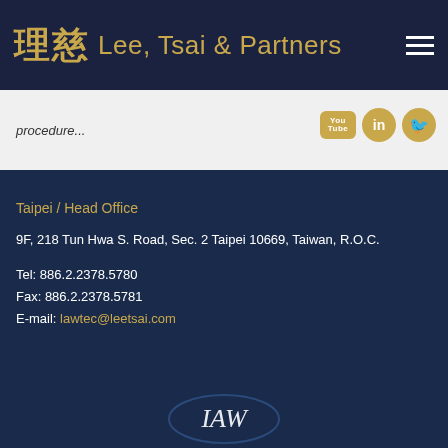理慈 Lee, Tsai & Partners
procedure...
Taipei / Head Office
9F, 218 Tun Hwa S. Road, Sec. 2 Taipei 10669, Taiwan, R.O.C.
Tel: 886.2.2378.5780
Fax: 886.2.2378.5781
E-mail: lawtec@leetsai.com
[Figure (logo): IAW partial logo at bottom of page]